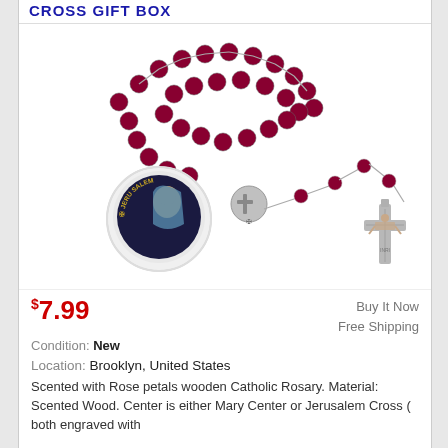CROSS GIFT BOX
[Figure (photo): Product photo showing a dark red/maroon wooden bead Catholic rosary laid out with a silver crucifix and a silver center medallion, alongside a round white container with an image of the Virgin Mary labeled Jerusalem Cross]
$7.99
Buy It Now
Free Shipping
Condition: New
Location: Brooklyn, United States
Scented with Rose petals wooden Catholic Rosary. Material: Scented Wood. Center is either Mary Center or Jerusalem Cross ( both engraved with